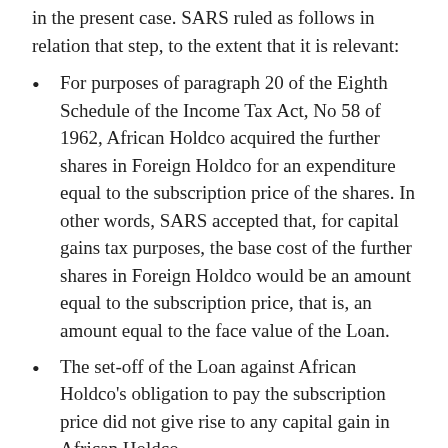in the present case. SARS ruled as follows in relation that step, to the extent that it is relevant:
For purposes of paragraph 20 of the Eighth Schedule of the Income Tax Act, No 58 of 1962, African Holdco acquired the further shares in Foreign Holdco for an expenditure equal to the subscription price of the shares. In other words, SARS accepted that, for capital gains tax purposes, the base cost of the further shares in Foreign Holdco would be an amount equal to the subscription price, that is, an amount equal to the face value of the Loan.
The set-off of the Loan against African Holdco's obligation to pay the subscription price did not give rise to any capital gain in African Holdco.
As African Holdco was not a tax resident in South Africa, it was not necessary to consider the South African tax effects of the restructure for it. Had it been a South